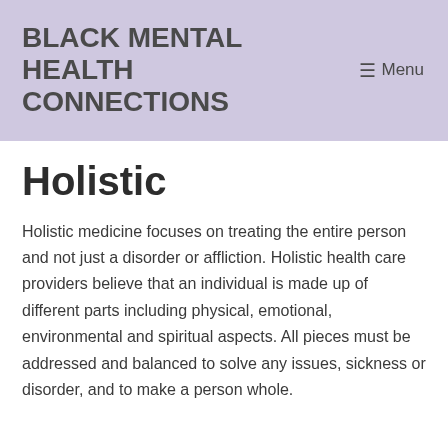BLACK MENTAL HEALTH CONNECTIONS
Holistic
Holistic medicine focuses on treating the entire person and not just a disorder or affliction. Holistic health care providers believe that an individual is made up of different parts including physical, emotional, environmental and spiritual aspects. All pieces must be addressed and balanced to solve any issues, sickness or disorder, and to make a person whole.